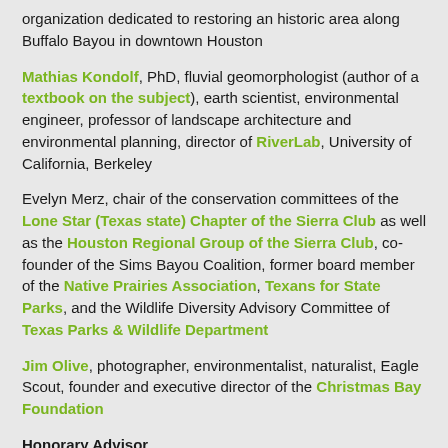organization dedicated to restoring an historic area along Buffalo Bayou in downtown Houston
Mathias Kondolf, PhD, fluvial geomorphologist (author of a textbook on the subject), earth scientist, environmental engineer, professor of landscape architecture and environmental planning, director of RiverLab, University of California, Berkeley
Evelyn Merz, chair of the conservation committees of the Lone Star (Texas state) Chapter of the Sierra Club as well as the Houston Regional Group of the Sierra Club, co-founder of the Sims Bayou Coalition, former board member of the Native Prairies Association, Texans for State Parks, and the Wildlife Diversity Advisory Committee of Texas Parks & Wildlife Department
Jim Olive, photographer, environmentalist, naturalist, Eagle Scout, founder and executive director of the Christmas Bay Foundation
Honorary Advisor